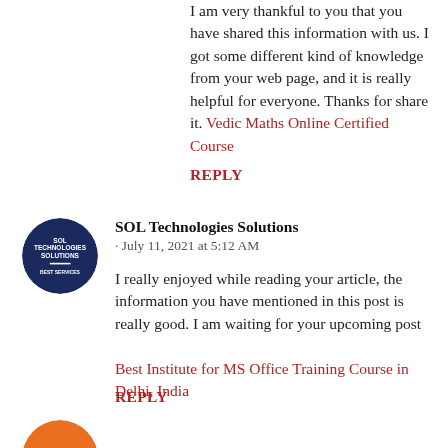I am very thankful to you that you have shared this information with us. I got some different kind of knowledge from your web page, and it is really helpful for everyone. Thanks for share it. Vedic Maths Online Certified Course
REPLY
SOL Technologies Solutions
· July 11, 2021 at 5:12 AM
I really enjoyed while reading your article, the information you have mentioned in this post is really good. I am waiting for your upcoming post
Best Institute for MS Office Training Course in Delhi, India
REPLY